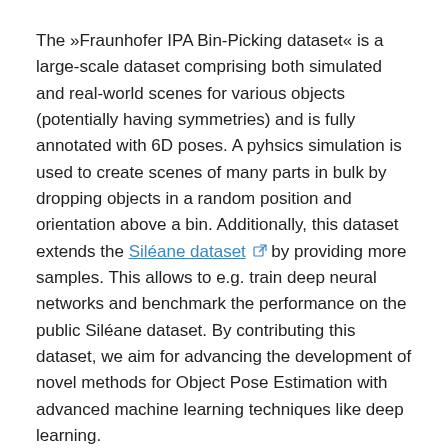The »Fraunhofer IPA Bin-Picking dataset« is a large-scale dataset comprising both simulated and real-world scenes for various objects (potentially having symmetries) and is fully annotated with 6D poses. A pyhsics simulation is used to create scenes of many parts in bulk by dropping objects in a random position and orientation above a bin. Additionally, this dataset extends the Siléane dataset [link] by providing more samples. This allows to e.g. train deep neural networks and benchmark the performance on the public Siléane dataset. By contributing this dataset, we aim for advancing the development of novel methods for Object Pose Estimation with advanced machine learning techniques like deep learning.
The (training) dataset, a description, and scripts to facilitate the usage of the dataset will be available for download on this website three months before the competition. This enables the participants to develop their algorithms, setup and test their routines, and test their methods on the datasets to allow a smooth